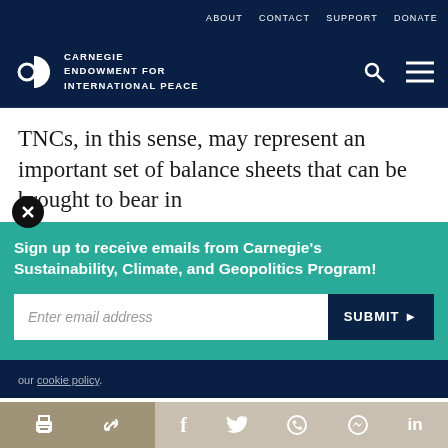ABOUT   CONTACT   SUPPORT   DONATE
[Figure (logo): Carnegie Endowment for International Peace logo with circular icon and text]
TNCs, in this sense, may represent an important set of balance sheets that can be brought to bear in
Sign up to receive emails from Carnegie’s Sustainability, Climate, and Geopolitics Program!
Enter email address
SUBMIT ▶
our cookie policy.
Share icons: print, link, facebook, twitter, whatsapp, messenger, linkedin